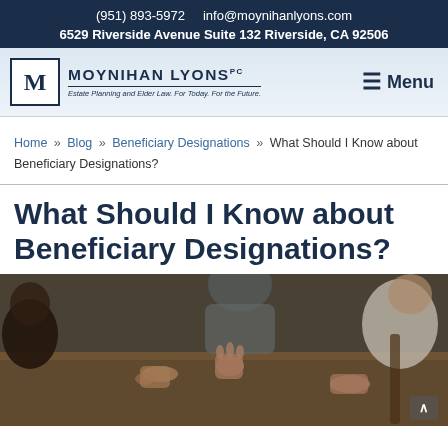(951) 893-5972    info@moynihanlyons.com
6529 Riverside Avenue Suite 132 Riverside, CA 92506
[Figure (logo): Moynihan Lyons PC logo with stylized M in a box, tagline: Estate Planning and Elder Law. For Today. For the Future.]
≡ Menu
Home » Blog » Beneficiary Designations » What Should I Know about Beneficiary Designations?
What Should I Know about Beneficiary Designations?
[Figure (photo): People sitting around a table in a meeting, hands visible, discussing documents or plans.]